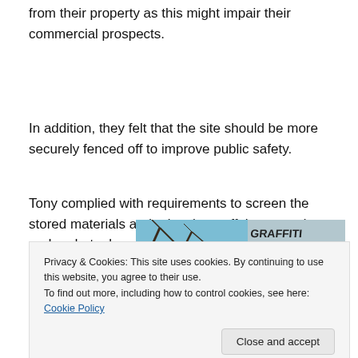from their property as this might impair their commercial prospects.
In addition, they felt that the site should be more securely fenced off to improve public safety.
Tony complied with requirements to screen the stored materials and raise them off the ground, and undertook remedial work to brace the structure from behind (as the studio and gallery had not yet been built).
[Figure (photo): Partial photo showing tree branches against a blue sky with graffiti text overlaid, and another partial photo at the bottom with foliage.]
Privacy & Cookies: This site uses cookies. By continuing to use this website, you agree to their use.
To find out more, including how to control cookies, see here: Cookie Policy